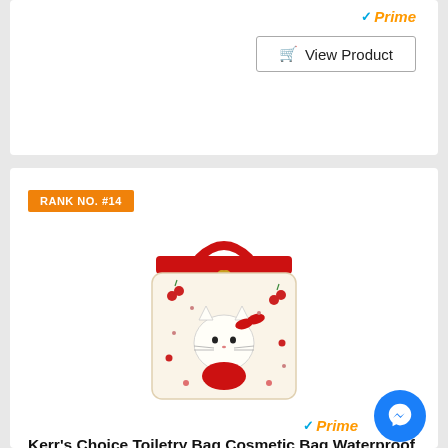[Figure (screenshot): Amazon Prime badge with orange checkmark and 'Prime' text in orange italic]
View Product
RANK NO. #14
[Figure (photo): Hello Kitty themed cosmetic toiletry bag with red handles, white body with Hello Kitty and cherry/strawberry pattern prints, gold zipper pull]
Kerr's Choice Toiletry Bag Cosmetic Bag Waterproof Makeup Bag Travel Storage Bag Gift for Girls Women Pencil Bag Stationery Pouch
[Figure (logo): Amazon Prime logo with blue checkmark and orange italic Prime text]
[Figure (logo): Facebook Messenger blue circle chat bubble icon]